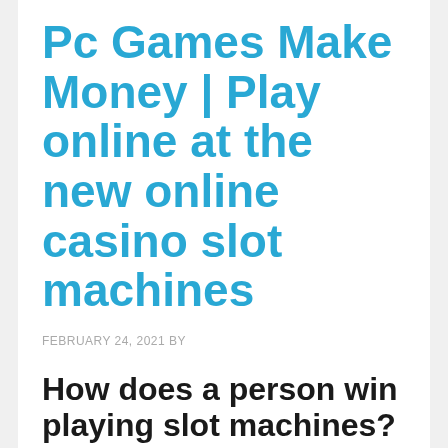Pc Games Make Money | Play online at the new online casino slot machines
FEBRUARY 24, 2021 BY
How does a person win playing slot machines?